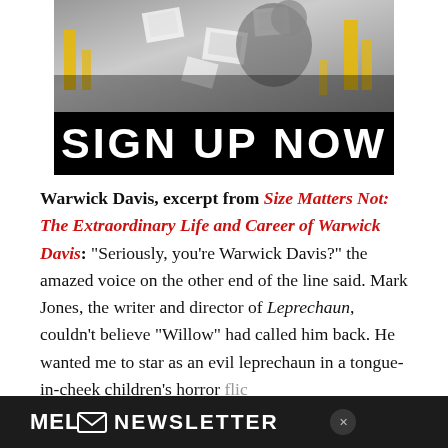[Figure (illustration): Banner advertisement with a black-and-white collage image at top (person with floating papers/screens, yellow accents) over a black background, with large white bold text 'SIGN UP NOW' at the bottom of the banner.]
Warwick Davis, excerpt from Size Matters Not: The Extraordinary Life and Career of Warwick Davis: “Seriously, you’re Warwick Davis?” the amazed voice on the other end of the line said. Mark Jones, the writer and director of Leprechaun, couldn’t believe “Willow” had called him back. He wanted me to star as an evil leprechaun in a tongue-in-cheek children’s horror flic[k]... ne[ver] ... to
[Figure (logo): MEL Newsletter advertisement bar at the bottom with dark background, MEL logo with envelope icon, and 'NEWSLETTER' text in white bold letters, with a circular close button.]